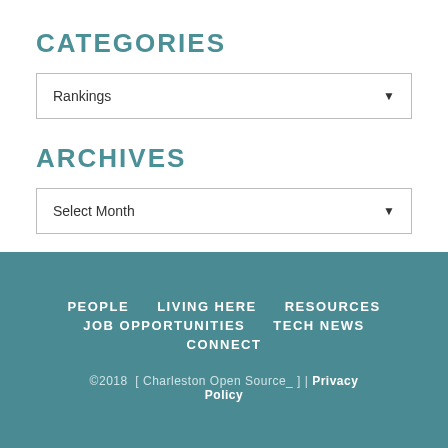CATEGORIES
Rankings
ARCHIVES
Select Month
PEOPLE   LIVING HERE   RESOURCES   JOB OPPORTUNITIES   TECH NEWS   CONNECT   ©2018  [ Charleston Open Source_ ] |  Privacy Policy